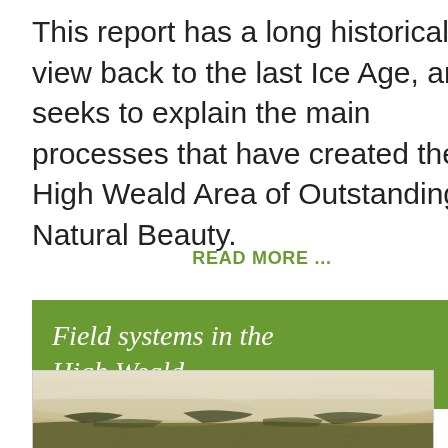This report has a long historical view back to the last Ice Age, and seeks to explain the main processes that have created the High Weald Area of Outstanding Natural Beauty.
READ MORE ...
Field systems in the High Weald
[Figure (photo): Aerial landscape photo of the High Weald showing misty fields and hedgerows from above]